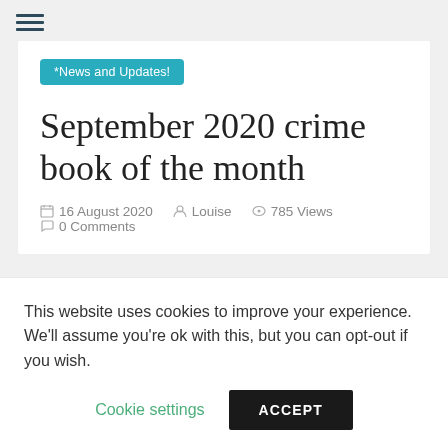≡
*News and Updates!
September 2020 crime book of the month
16 August 2020   Louise   785 Views   0 Comments
This website uses cookies to improve your experience. We'll assume you're ok with this, but you can opt-out if you wish. Cookie settings  ACCEPT